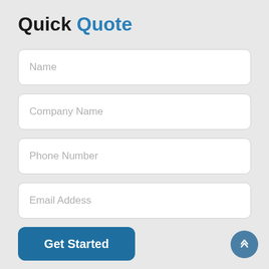Quick Quote
Name
Company Name
Phone Number
Email Addess
Get Started